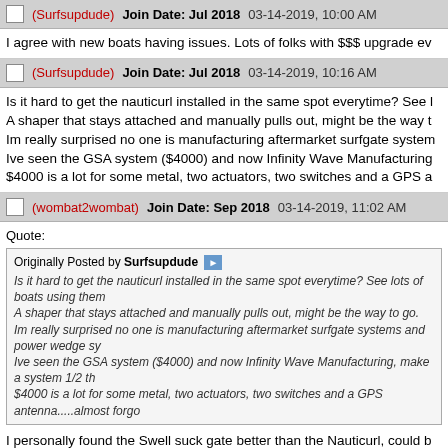(Surfsupdude)  Join Date: Jul 2018  03-14-2019, 10:00 AM
I agree with new boats having issues. Lots of folks with $$$ upgrade ev
(Surfsupdude)  Join Date: Jul 2018  03-14-2019, 10:16 AM
Is it hard to get the nauticurl installed in the same spot everytime? See l A shaper that stays attached and manually pulls out, might be the way t Im really surprised no one is manufacturing aftermarket surfgate system Ive seen the GSA system ($4000) and now Infinity Wave Manufacturing $4000 is a lot for some metal, two actuators, two switches and a GPS a
(wombat2wombat)  Join Date: Sep 2018  03-14-2019, 11:02 AM
Quote:
Originally Posted by Surfsupdude
Is it hard to get the nauticurl installed in the same spot everytime? See lots of boats using them
A shaper that stays attached and manually pulls out, might be the way to go.
Im really surprised no one is manufacturing aftermarket surfgate systems and power wedge sy
Ive seen the GSA system ($4000) and now Infinity Wave Manufacturing, make a system 1/2 th
$4000 is a lot for some metal, two actuators, two switches and a GPS antenna.....almost forgo
I personally found the Swell suck gate better than the Nauticurl, could b know but it produces an amazing wave with tons of push. I have to chec some of GSA's costs may be paying Malibu royalties since Malibu won t is purely speculation on my part.
(dakota4ce)  Join Date: Oct 2015  03-14-2019, 1:14 PM
Quote: